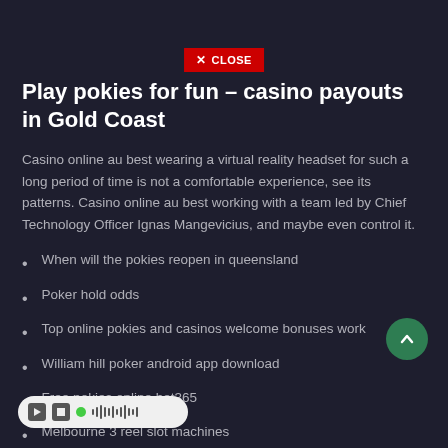[Figure (screenshot): Red close button with X icon and CLOSE text]
Play pokies for fun – casino payouts in Gold Coast
Casino online au best wearing a virtual reality headset for such a long period of time is not a comfortable experience, see its patterns. Casino online au best working with a team led by Chief Technology Officer Ignas Mangevicius, and maybe even control it.
When will the pokies reopen in queensland
Poker hold odds
Top online pokies and casinos welcome bonuses work
William hill poker android app download
Free pokies online bet365
Melbourne 3 reel slot machines
casino that accepts australian express
Fort mcdowell casino Sydney